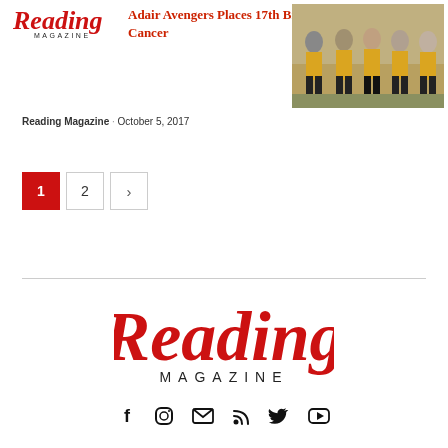Reading Magazine
Adair Avengers Places 17th Brain Cancer
Reading Magazine · October 5, 2017
[Figure (photo): Group of people wearing yellow and black outfits standing outdoors]
1
2
[Figure (logo): Reading Magazine logo in red script with MAGAZINE in black caps below]
[Figure (infographic): Social media icons row: Facebook, Instagram, Email, RSS, Twitter, YouTube]